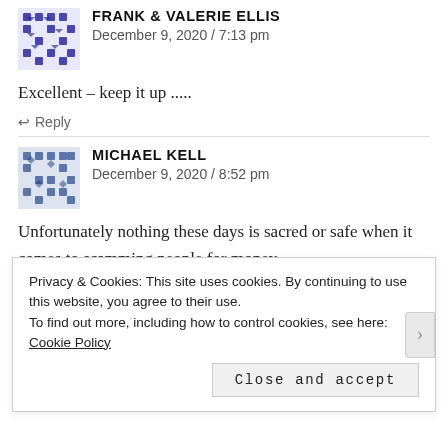[Figure (illustration): Blue geometric pattern avatar for Frank & Valerie Ellis]
FRANK & VALERIE ELLIS
December 9, 2020 / 7:13 pm
Excellent – keep it up .....
↩ Reply
[Figure (illustration): Blue geometric pattern avatar for Michael Kell]
MICHAEL KELL
December 9, 2020 / 8:52 pm
Unfortunately nothing these days is sacred or safe when it comes to scamming people for money.
↩ Reply
Privacy & Cookies: This site uses cookies. By continuing to use this website, you agree to their use.
To find out more, including how to control cookies, see here: Cookie Policy
Close and accept